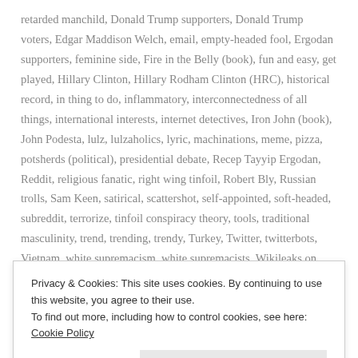retarded manchild, Donald Trump supporters, Donald Trump voters, Edgar Maddison Welch, email, empty-headed fool, Ergodan supporters, feminine side, Fire in the Belly (book), fun and easy, get played, Hillary Clinton, Hillary Rodham Clinton (HRC), historical record, in thing to do, inflammatory, interconnectedness of all things, international interests, internet detectives, Iron John (book), John Podesta, lulz, lulzaholics, lyric, machinations, meme, pizza, potsherds (political), presidential debate, Recep Tayyip Ergodan, Reddit, religious fanatic, right wing tinfoil, Robert Bly, Russian trolls, Sam Keen, satirical, scattershot, self-appointed, soft-headed, subreddit, terrorize, tinfoil conspiracy theory, tools, traditional masculinity, trend, trending, trendy, Turkey, Twitter, twitterbots, Vietnam, white supremacism, white supremacists, Wikileaks on 2016.12.10. 3 Comments
Privacy & Cookies: This site uses cookies. By continuing to use this website, you agree to their use.
To find out more, including how to control cookies, see here: Cookie Policy
Close and accept
THE PIZZA POST